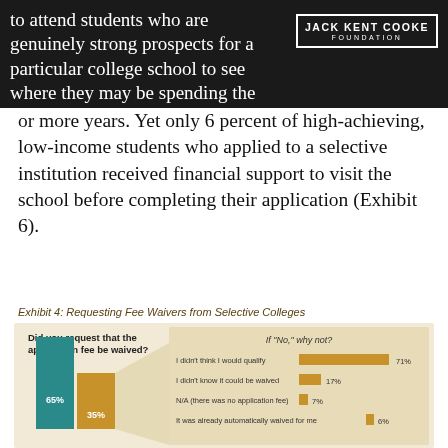to attend students who are genuinely strong prospects for a particular college school to see where they may be spending the next four or more years.
or more years. Yet only 6 percent of high-achieving, low-income students who applied to a selective institution received financial support to visit the school before completing their application (Exhibit 6).
Exhibit 4: Requesting Fee Waivers from Selective Colleges
[Figure (bar-chart): Did you request that the application fee be waived?]